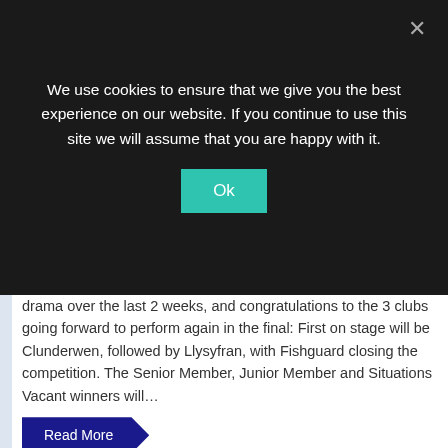We use cookies to ensure that we give you the best experience on our website. If you continue to use this site we will assume that you are happy with it.
Ok
drama over the last 2 weeks, and congratulations to the 3 clubs going forward to perform again in the final: First on stage will be Clunderwen, followed by Llysyfran, with Fishguard closing the competition. The Senior Member, Junior Member and Situations Vacant winners will…
Read More
19 Feb 2020 / Uncategorized / Comments Off /
Gwyl Drama Cymraeg
Welsh Drama Festival Theatr Y Gromlech, Crymych 4